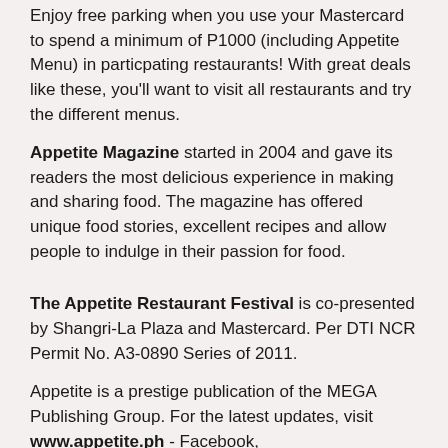Enjoy free parking when you use your Mastercard to spend a minimum of P1000 (including Appetite Menu) in particpating restaurants! With great deals like these, you'll want to visit all restaurants and try the different menus.
Appetite Magazine started in 2004 and gave its readers the most delicious experience in making and sharing food. The magazine has offered unique food stories, excellent recipes and allow people to indulge in their passion for food.
The Appetite Restaurant Festival is co-presented by Shangri-La Plaza and Mastercard. Per DTI NCR Permit No. A3-0890 Series of 2011.
Appetite is a prestige publication of the MEGA Publishing Group. For the latest updates, visit www.appetite.ph - Facebook, facebook.com/appetitemag or Follow at twitter.com/appetitemag